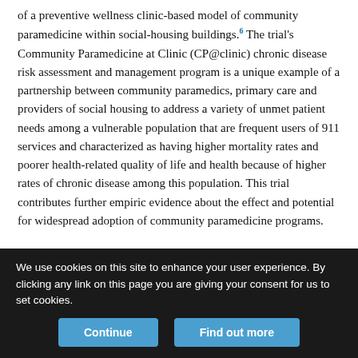of a preventive wellness clinic-based model of community paramedicine within social-housing buildings.6 The trial's Community Paramedicine at Clinic (CP@clinic) chronic disease risk assessment and management program is a unique example of a partnership between community paramedics, primary care and providers of social housing to address a variety of unmet patient needs among a vulnerable population that are frequent users of 911 services and characterized as having higher mortality rates and poorer health-related quality of life and health because of higher rates of chronic disease among this population. This trial contributes further empiric evidence about the effect and potential for widespread adoption of community paramedicine programs.
Community paramedics have developed such pragmatic and
We use cookies on this site to enhance your user experience. By clicking any link on this page you are giving your consent for us to set cookies.